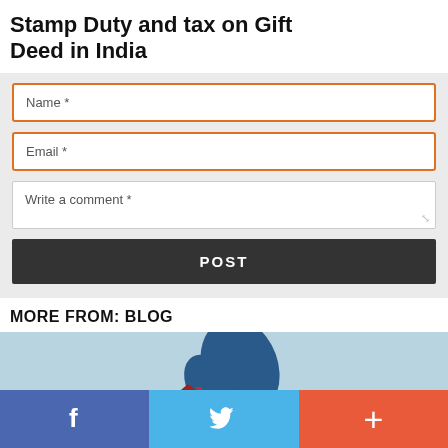Stamp Duty and tax on Gift Deed in India
[Figure (screenshot): Web form with Name and Email input fields with orange borders, a Write a comment textarea, and a dark POST button]
MORE FROM: BLOG
[Figure (photo): Blog post thumbnail showing a red house model held by a blue hand/figure against a light blue background]
[Figure (infographic): Social share bar with Facebook (blue), Twitter (light blue), and plus/share (red-orange) buttons at the bottom of the page]